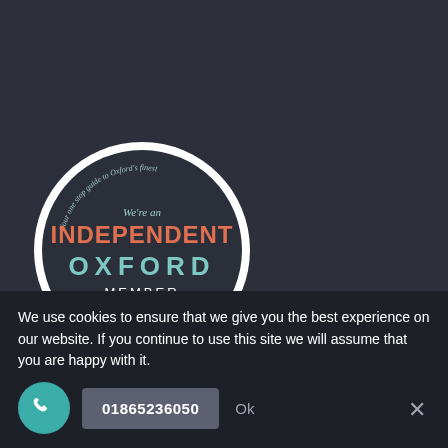[Figure (logo): Independent Oxford member badge - circular dark badge with 'We're an INDEPENDENT OXFORD MEMBER' text and website URL]
[Figure (logo): Registered 2021 badge - red circular badge with shield logo and 'REGISTERED 2021' text]
We use cookies to ensure that we give you the best experience on our website. If you continue to use this site we will assume that you are happy with it.
01865236050
Ok